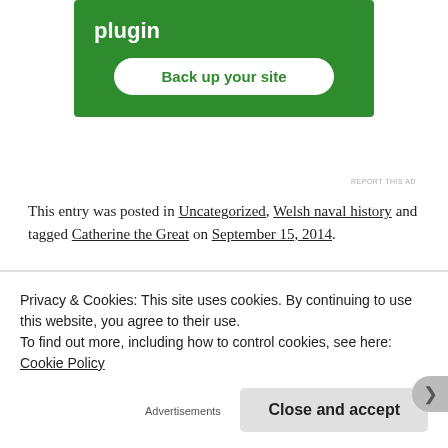[Figure (screenshot): Green advertisement banner with bold white text 'plugin' and a white rounded button labeled 'Back up your site' in green text]
REPORT THIS AD
This entry was posted in Uncategorized, Welsh naval history and tagged Catherine the Great on September 15, 2014.
Privacy & Cookies: This site uses cookies. By continuing to use this website, you agree to their use.
To find out more, including how to control cookies, see here: Cookie Policy
Close and accept
Advertisements